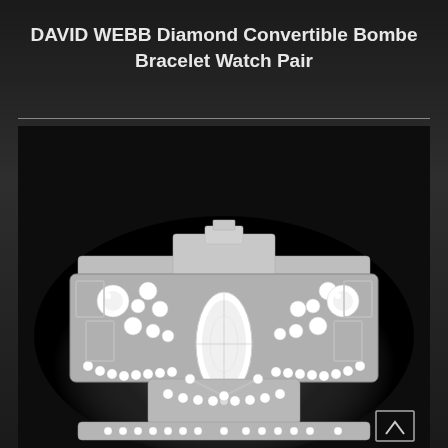DAVID WEBB Diamond Convertible Bombe Bracelet Watch Pair
[Figure (photo): A David Webb diamond convertible bombe bracelet watch pair, photographed against a dark background. The bracelet is heavily set with round and marquise-cut diamonds in a geometric Art Deco-style platinum setting, featuring a prominent marquise diamond at the center.]